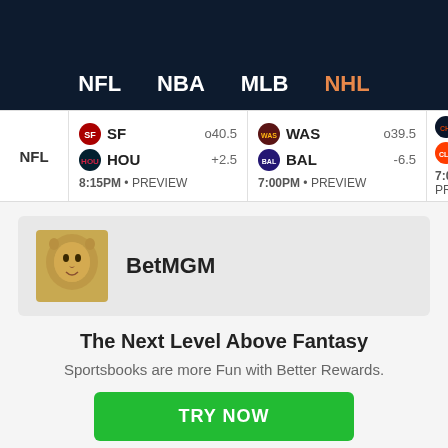NFL  NBA  MLB  NHL
NFL  SF o40.5  HOU +2.5  8:15PM • PREVIEW  |  WAS o39.5  BAL -6.5  7:00PM • PREVIEW  |  CHI  CLE  7:00PM • PR
[Figure (logo): BetMGM lion logo in gold]
BetMGM
The Next Level Above Fantasy
Sportsbooks are more Fun with Better Rewards.
TRY NOW
NHL  Start/Sit  Taylor Hall or ...